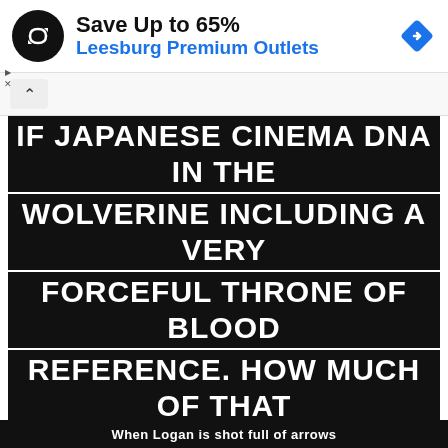[Figure (screenshot): Advertisement banner: black circular logo with double arrow symbol, text 'Save Up to 65%' in bold black and 'Leesburg Premium Outlets' in blue, blue diamond navigation icon on the right.]
IF JAPANESE CINEMA DNA IN THE WOLVERINE INCLUDING A VERY FORCEFUL THRONE OF BLOOD REFERENCE. HOW MUCH OF THAT DID YOU BRING TO THE WOLVERINE AND HOW MUCH JAPANESE INFLUENCE WAS IN THE SCRIPT?
James Mangold: I'd love to hear the Throne of Blood reference, because it's not intentional!
[Figure (screenshot): Partial bottom image with black background, partially visible text 'When Logan is shot full of arrows']